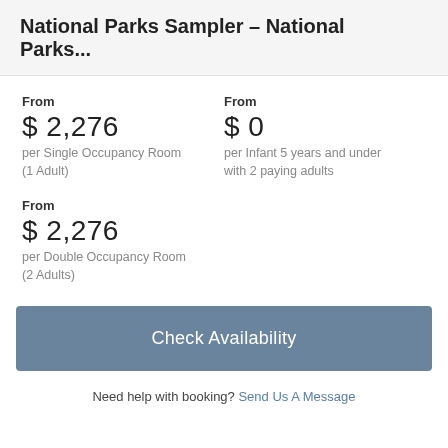National Parks Sampler – National
Parks...
From
$ 2,276
per Single Occupancy Room (1 Adult)
From
$ 0
per Infant 5 years and under with 2 paying adults
From
$ 2,276
per Double Occupancy Room (2 Adults)
Check Availability
Need help with booking? Send Us A Message